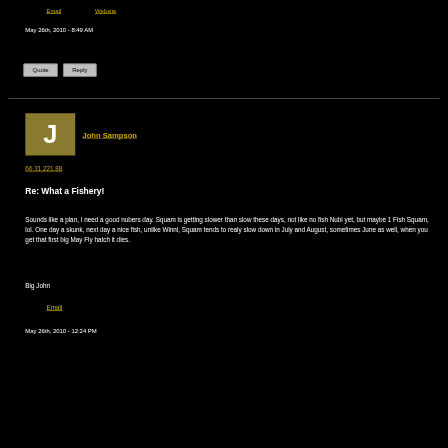Email   Website
May 26th, 2010 - 8:49 AM
Quote   Reply
[Figure (illustration): User avatar square with letter J on olive/gold background for user John Sampson]
John Sampson
66.31.221.88
Re: What a Fishery!
Sounds like a plan, I need a good nubers day. Squam is getting slower than slow these days, not like no fish Nubi yet, but maybe 1 Fish Squam, lol. One day a skunk, next day a nice fish, unlike Winni, Squam tends to realy slow down in July and August, sometimes June as well, when you get that first big May Fly hatch it dies.
Big John
Email
May 26th, 2010 - 12:24 PM